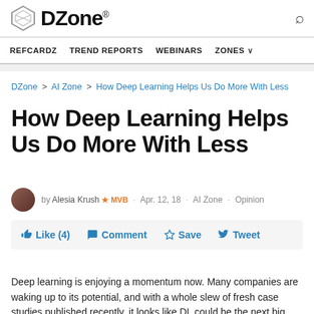DZone. REFCARDZ  TREND REPORTS  WEBINARS  ZONES
DZone > AI Zone > How Deep Learning Helps Us Do More With Less
How Deep Learning Helps Us Do More With Less
by Alesia Krush MVB · Apr. 12, 18 · AI Zone · Opinion
Like (4)  Comment  Save  Tweet
Deep learning is enjoying a momentum now. Many companies are waking up to its potential, and with a whole slew of fresh case studies published recently, it looks like DL could be the next big thing.